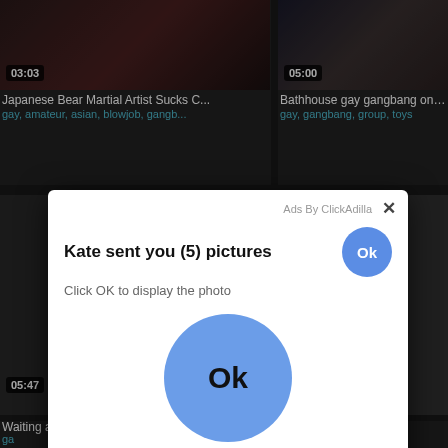[Figure (screenshot): Video thumbnail top-left with duration badge 03:03]
[Figure (screenshot): Video thumbnail top-right with duration badge 05:00]
Japanese Bear Martial Artist Sucks C...
gay, amateur, asian, blowjob, gangb...
Bathhouse gay gangbang on a straig...
gay, gangbang, group, toys
[Figure (screenshot): Video thumbnail mid-left]
[Figure (screenshot): Video thumbnail mid-right]
Waiting a...
ga
[Figure (screenshot): Ad popup overlay: Kate sent you (5) pictures. Click OK to display the photo. Large blue Ok button. Ads By ClickAdilla.]